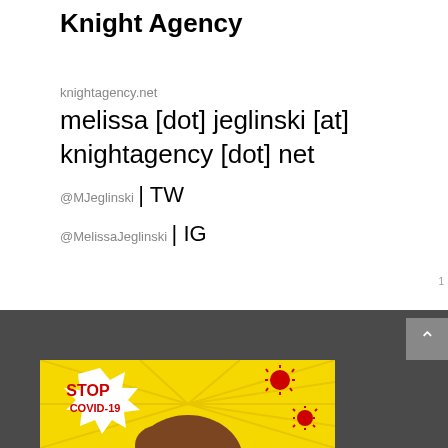Knight Agency
knightagency.net
melissa [dot] jeglinski [at] knightagency [dot] net
@MJeglinski | TW
@MelissaJeglinski | IG
[Figure (illustration): Pop-art style illustration with 'STOP COVID-19' text on yellow background with red coronavirus imagery and a person's hair visible]